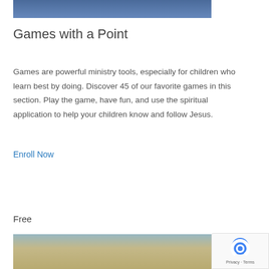[Figure (photo): Top portion of a photo showing a person in a blue polka dot dress with a colorful necklace, with a blurred background]
Games with a Point
Games are powerful ministry tools, especially for children who learn best by doing. Discover 45 of our favorite games in this section. Play the game, have fun, and use the spiritual application to help your children know and follow Jesus.
Enroll Now
Free
[Figure (photo): Bottom portion showing a woman and child outdoors among tall golden grasses]